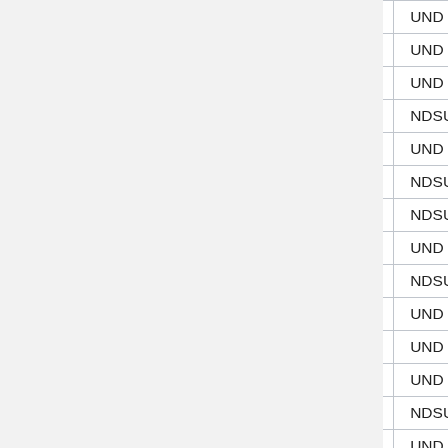| Date | UND Score | NDSU Score | Winner |
| --- | --- | --- | --- |
| 10/28/39 | 18 | 0 | UND |
| 10/26/40 | 24 | 0 | UND |
| 10/25/41 | 20 | 6 | UND |
| 10/24/42 | 14 | 26 | NDSU |
| 10/20/45 | 20 | 12 | UND |
| 10/27/45 | 7 | 26 | NDSU |
| 10/19/46 | 0 | 31 | NDSU |
| 10/18/47 | 25 | 20 | UND |
| 10/30/48 | 7 | 19 | NDSU |
| 10/29/49 | 13 | 6 | UND |
| 10/28/50 | 33 | 0 | UND |
| 10/27/51 | 33 | 14 | UND |
| 10/25/52 | 13 | 14 | NDSU |
| 10/31/53 | 26 | 6 | UND |
| 10/30/54 | 40 | 7 | UND |
| 10/29/55 | 21 | 0 | UND |